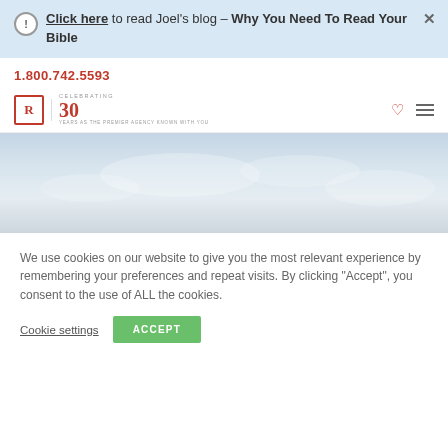Click here to read Joel's blog – Why You Need To Read Your Bible
1.800.742.5593
[Figure (logo): RV Bible logo with 30th anniversary – Celebrating 30 Years As The Premier Agency Known With You]
[Figure (photo): Sky/cloud background hero image]
We use cookies on our website to give you the most relevant experience by remembering your preferences and repeat visits. By clicking "Accept", you consent to the use of ALL the cookies.
Cookie settings  ACCEPT